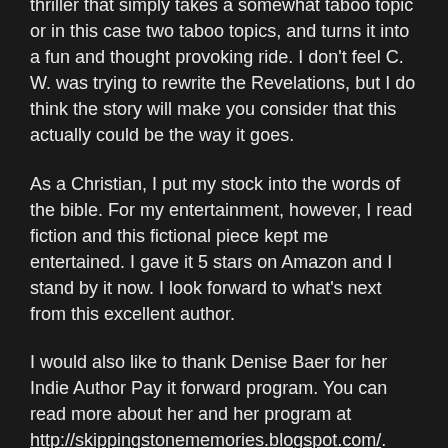thriller that simply takes a somewhat taboo topic or in this case two taboo topics, and turns it into a fun and thought provoking ride. I don't feel C. W. was trying to rewrite the Revelations, but I do think the story will make you consider that this actually could be the way it goes.
As a Christian, I put my stock into the words of the bible. For my entertainment, however, I read fiction and this fictional piece kept me entertained. I gave it 5 stars on Amazon and I stand by it now. I look forward to what's next from this excellent author.
I would also like to thank Denise Baer for her Indie Author Pay it forward program. You can read more about her and her program at http://skippingstonememories.blogspot.com/.